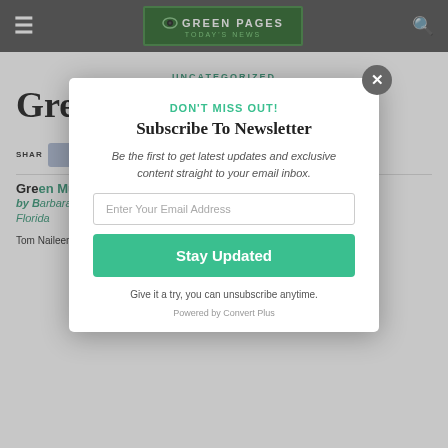[Figure (screenshot): Green Pages Today's News logo in green rectangle with eye icon]
UNCATEGORIZED
Green Music by Tom
SHARE
Green Music by Tom
by Barbara Rodgers-Hendricks, Gro Florida
Tom Naileen in a
DON'T MISS OUT!
Subscribe To Newsletter
Be the first to get latest updates and exclusive content straight to your email inbox.
Enter Your Email Address
Stay Updated
Give it a try, you can unsubscribe anytime.
Powered by Convert Plus